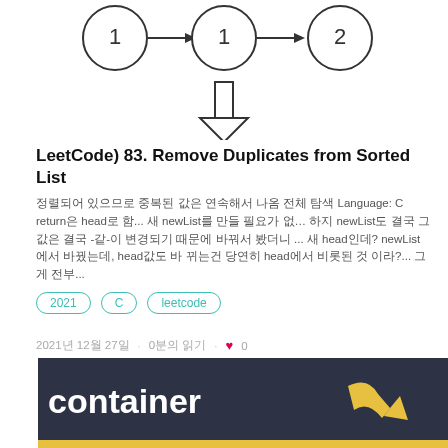[Figure (illustration): Linked list diagram showing nodes 1 → 1 → 2 with a downward arrow below indicating transformation]
LeetCode) 83. Remove Duplicates from Sorted List
정렬되어 있으므로 중복된 값은 연속해서 나옴 전체 탐색 Language: C return은 head로 함... 새 newList를 만들 필요가 없… 하지 newList도 결국 그 값은 결국 -같-이 변경되기 때문에 바꿔서 봤더니 ... 새 head인데? newList에서 바꿨는데, head값도 바 뀌는건 당연히 head에서 비롯된 것 이라?... 그게 전부...
2021
C
leetcode
2021년 12월 27일 · 0분의 읽기 · ♥ 0
[Figure (screenshot): Dark card showing word 'container' with a yellow arrow logo — partial view of next post card]